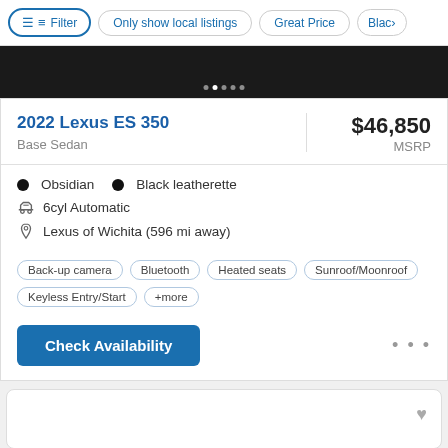Filter | Only show local listings | Great Price | Blac>
[Figure (photo): Dark background car image strip with dot carousel indicator]
2022 Lexus ES 350
Base Sedan
$46,850 MSRP
Obsidian  •  Black leatherette
6cyl Automatic
Lexus of Wichita (596 mi away)
Back-up camera   Bluetooth   Heated seats   Sunroof/Moonroof   Keyless Entry/Start   +more
Check Availability
[Figure (photo): Second car listing card peek with heart icon]